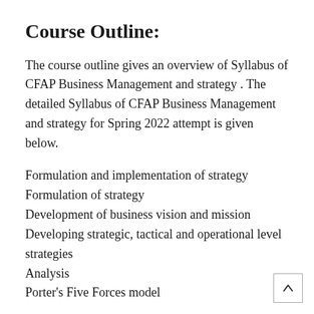Course Outline:
The course outline gives an overview of Syllabus of CFAP Business Management and strategy . The detailed Syllabus of CFAP Business Management and strategy for Spring 2022 attempt is given below.
Formulation and implementation of strategy
Formulation of strategy
Development of business vision and mission
Developing strategic, tactical and operational level strategies
Analysis
Porter's Five Forces model